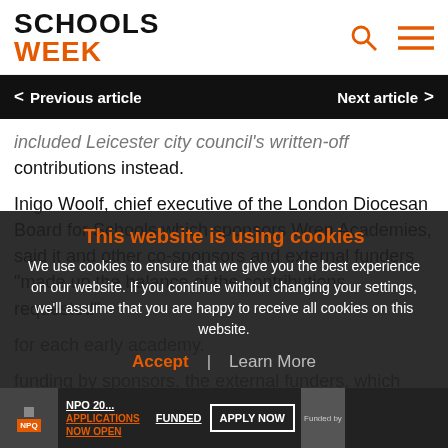SCHOOLS WEEK
< Previous article   Next article >
included Leicester city council's written-off contributions instead.
Inigo Woolf, chief executive of the London Diocesan Board for Schools which sponsors Wren Academies, said it and other co-sponsors and external funders "made up the balance of the contributions requested" for each early academy.
This website is using cookies
We use cookies to ensure that we give you the best experience on our website. If you continue without changing your settings, we'll assume that you are happy to receive all cookies on this website.
Accept | Learn More